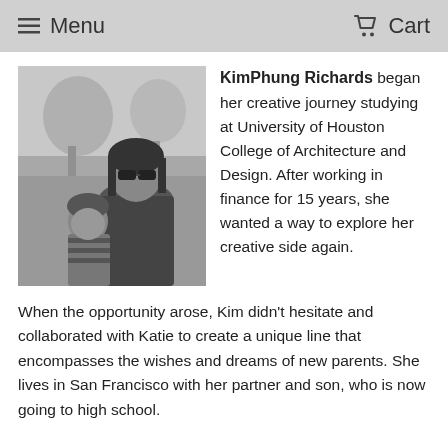Menu  Cart
[Figure (photo): Black and white photo of a woman wearing sunglasses sitting with a young boy outdoors]
KimPhung Richards began her creative journey studying at University of Houston College of Architecture and Design. After working in finance for 15 years, she wanted a way to explore her creative side again. When the opportunity arose, Kim didn't hesitate and collaborated with Katie to create a unique line that encompasses the wishes and dreams of new parents. She lives in San Francisco with her partner and son, who is now going to high school.